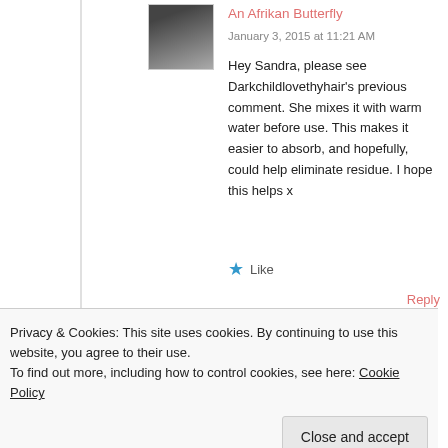An Afrikan Butterfly
January 3, 2015 at 11:21 AM
Hey Sandra, please see Darkchildlovethyhair’s previous comment. She mixes it with warm water before use. This makes it easier to absorb, and hopefully, could help eliminate residue. I hope this helps x
Like
Reply
Privacy & Cookies: This site uses cookies. By continuing to use this website, you agree to their use.
To find out more, including how to control cookies, see here: Cookie Policy
Close and accept